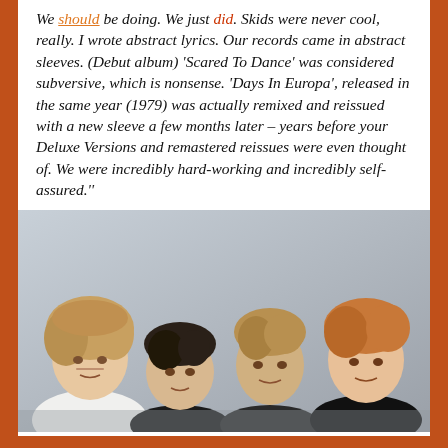We should be doing. We just did. Skids were never cool, really. I wrote abstract lyrics. Our records came in abstract sleeves. (Debut album) 'Scared To Dance' was considered subversive, which is nonsense. 'Days In Europa', released in the same year (1979) was actually remixed and reissued with a new sleeve a few months later – years before your Deluxe Versions and remastered reissues were even thought of. We were incredibly hard-working and incredibly self-assured."
[Figure (photo): Black and white / muted color photo of four young men (a band) posed together looking at the camera with serious expressions. They have late 1970s hairstyles.]